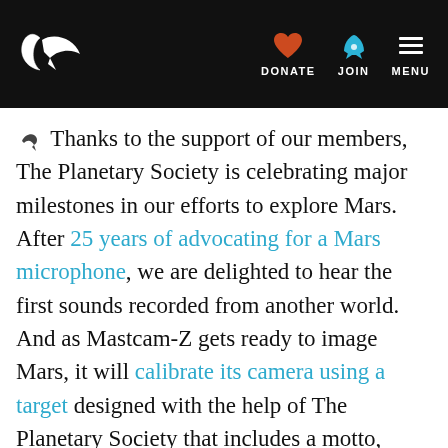The Planetary Society — DONATE | JOIN | MENU
✦ Thanks to the support of our members, The Planetary Society is celebrating major milestones in our efforts to explore Mars. After 25 years of advocating for a Mars microphone, we are delighted to hear the first sounds recorded from another world. And as Mastcam-Z gets ready to image Mars, it will calibrate its camera using a target designed with the help of The Planetary Society that includes a motto, graphics, and a sundial. Learn more about The Planetary Society's contributions to Mars